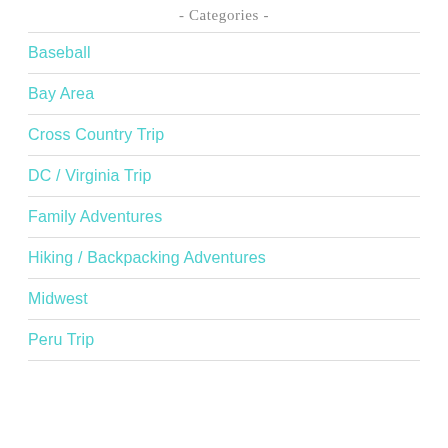- Categories -
Baseball
Bay Area
Cross Country Trip
DC / Virginia Trip
Family Adventures
Hiking / Backpacking Adventures
Midwest
Peru Trip